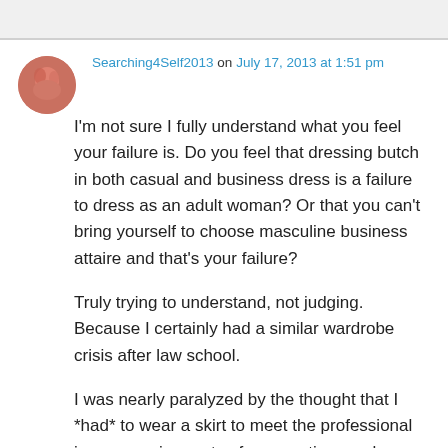Searching4Self2013 on July 17, 2013 at 1:51 pm
I'm not sure I fully understand what you feel your failure is. Do you feel that dressing butch in both casual and business dress is a failure to dress as an adult woman? Or that you can't bring yourself to choose masculine business attaire and that's your failure?
Truly trying to understand, not judging. Because I certainly had a similar wardrobe crisis after law school.
I was nearly paralyzed by the thought that I *had* to wear a skirt to meet the professional image requirements of prospective employers.